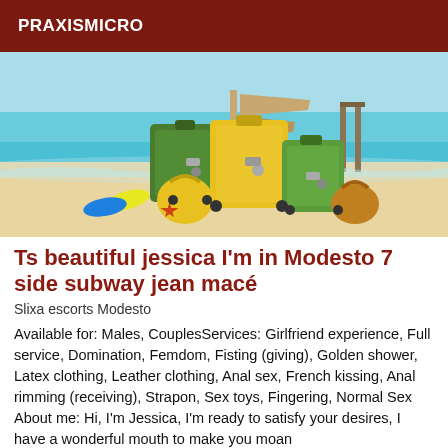PRAXISMICRO
[Figure (photo): Beach scene with colorful green and yellow luggage/suitcases stacked on sandy beach, with turquoise ocean water in background, flip flops and a starfish visible, wooden signpost above the luggage]
Ts beautiful jessica I'm in Modesto 7 side subway jean macé
Slixa escorts Modesto
Available for: Males, CouplesServices: Girlfriend experience, Full service, Domination, Femdom, Fisting (giving), Golden shower, Latex clothing, Leather clothing, Anal sex, French kissing, Anal rimming (receiving), Strapon, Sex toys, Fingering, Normal Sex About me: Hi, I'm Jessica, I'm ready to satisfy your desires, I have a wonderful mouth to make you moan